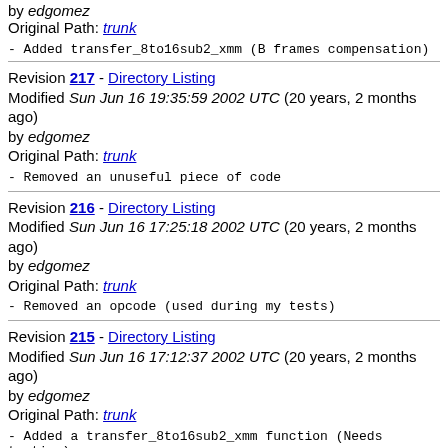by edgomez
Original Path: trunk
- Added transfer_8to16sub2_xmm (B frames compensation)
Revision 217 - Directory Listing
Modified Sun Jun 16 19:35:59 2002 UTC (20 years, 2 months ago) by edgomez
Original Path: trunk
- Removed an unuseful piece of code
Revision 216 - Directory Listing
Modified Sun Jun 16 17:25:18 2002 UTC (20 years, 2 months ago) by edgomez
Original Path: trunk
- Removed an opcode (used during my tests)
Revision 215 - Directory Listing
Modified Sun Jun 16 17:12:37 2002 UTC (20 years, 2 months ago) by edgomez
Original Path: trunk
- Added a transfer_8to16sub2_xmm function (Needs testing)